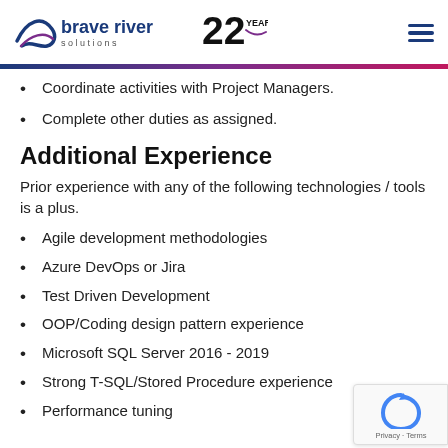Brave River Solutions — 22 Years
Coordinate activities with Project Managers.
Complete other duties as assigned.
Additional Experience
Prior experience with any of the following technologies / tools is a plus.
Agile development methodologies
Azure DevOps or Jira
Test Driven Development
OOP/Coding design pattern experience
Microsoft SQL Server 2016 - 2019
Strong T-SQL/Stored Procedure experience
Performance tuning